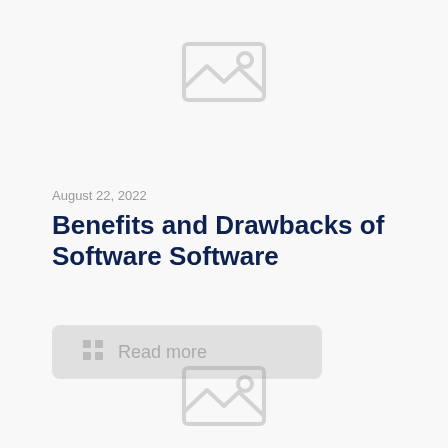[Figure (illustration): Placeholder image icon (mountain/photo icon) in light gray, centered near top of page]
August 22, 2022
Benefits and Drawbacks of Software Software
Read more
[Figure (illustration): Placeholder image icon (mountain/photo icon) in light gray, centered near bottom of page]